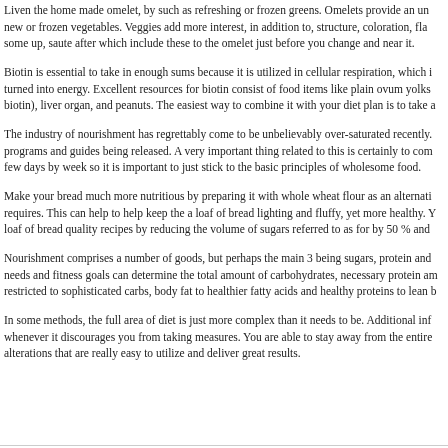Liven the home made omelet, by such as refreshing or frozen greens. Omelets provide an un... new or frozen vegetables. Veggies add more interest, in addition to, structure, coloration, fla... some up, saute after which include these to the omelet just before you change and near it.
Biotin is essential to take in enough sums because it is utilized in cellular respiration, which i... turned into energy. Excellent resources for biotin consist of food items like plain ovum yolks biotin), liver organ, and peanuts. The easiest way to combine it with your diet plan is to take a...
The industry of nourishment has regrettably come to be unbelievably over-saturated recently. programs and guides being released. A very important thing related to this is certainly to com... few days by week so it is important to just stick to the basic principles of wholesome food.
Make your bread much more nutritious by preparing it with whole wheat flour as an alternati... requires. This can help to help keep the a loaf of bread lighting and fluffy, yet more healthy. Y... loaf of bread quality recipes by reducing the volume of sugars referred to as for by 50 % and...
Nourishment comprises a number of goods, but perhaps the main 3 being sugars, protein and... needs and fitness goals can determine the total amount of carbohydrates, necessary protein am... restricted to sophisticated carbs, body fat to healthier fatty acids and healthy proteins to lean b...
In some methods, the full area of diet is just more complex than it needs to be. Additional inf... whenever it discourages you from taking measures. You are able to stay away from the entire alterations that are really easy to utilize and deliver great results.